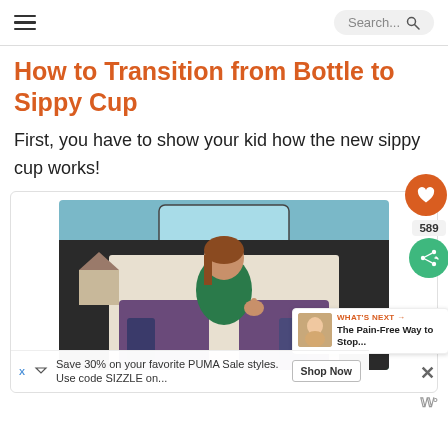Navigation bar with hamburger menu and Search... field
How to Transition from Bottle to Sippy Cup
First, you have to show your kid how the new sippy cup works!
[Figure (photo): Woman with thumbs up standing at the open trunk of an SUV outdoors, with luggage visible inside. Social share buttons and 589 count visible. 'WHAT'S NEXT' overlay showing 'The Pain-Free Way to Stop...' An advertisement bar at the bottom: 'Save 30% on your favorite PUMA Sale styles. Use code SIZZLE on...' with a 'Shop Now' button.]